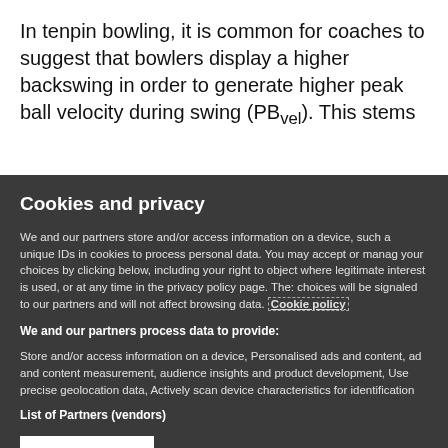In tenpin bowling, it is common for coaches to suggest that bowlers display a higher backswing in order to generate higher peak ball velocity during swing (PB_vel). This stems
Cookies and privacy
We and our partners store and/or access information on a device, such as unique IDs in cookies to process personal data. You may accept or manage your choices by clicking below, including your right to object where legitimate interest is used, or at any time in the privacy policy page. These choices will be signaled to our partners and will not affect browsing data. Cookie policy
We and our partners process data to provide:
Store and/or access information on a device, Personalised ads and content, ad and content measurement, audience insights and product development, Use precise geolocation data, Actively scan device characteristics for identification
List of Partners (vendors)